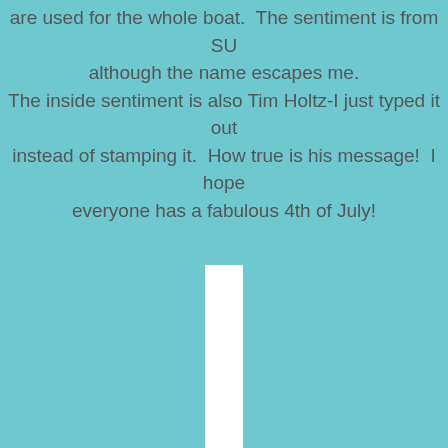are used for the whole boat.  The sentiment is from SU although the name escapes me. The inside sentiment is also Tim Holtz-I just typed it out instead of stamping it.  How true is his message!  I hope everyone has a fabulous 4th of July!
[Figure (other): A narrow vertical white strip/rectangle centered horizontally on the teal background, extending from approximately mid-page to the bottom of the visible area.]